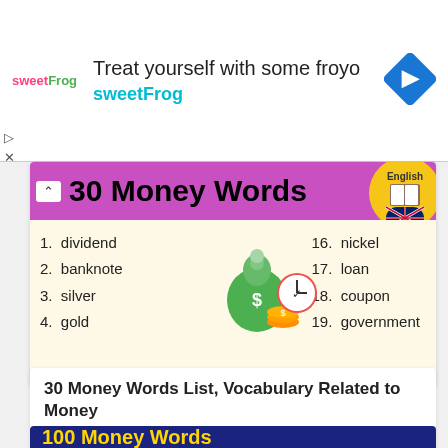[Figure (screenshot): SweetFrog advertisement banner with logo, text 'Treat yourself with some froyo sweetFrog', and a blue diamond navigation icon]
[Figure (infographic): 30 Money Words vocabulary infographic with purple header, list of money-related words (1. dividend, 2. banknote, 3. silver, 4. gold on left; 16. nickel, 17. loan, 18. coupon, 19. government on right), illustration of money bag, coins, and clock]
30 Money Words List, Vocabulary Related to Money
Englishvocabsadmin   June 7, 2021
[Figure (infographic): 100 Money Words vocabulary infographic with dark blue/navy header showing yellow title text, partially visible at bottom of page]